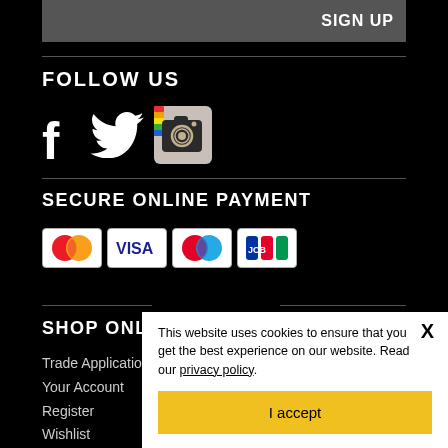SIGN UP
FOLLOW US
[Figure (logo): Social media icons: Facebook, Twitter, Instagram]
SECURE ONLINE PAYMENT
[Figure (logo): Payment icons: Mastercard, Visa, Maestro, JCB]
SHOP ONLINE
Trade Application
Your Account
Register
Wishlist
Your Basket
This website uses cookies to ensure that you get the best experience on our website. Read our privacy policy.
I accept